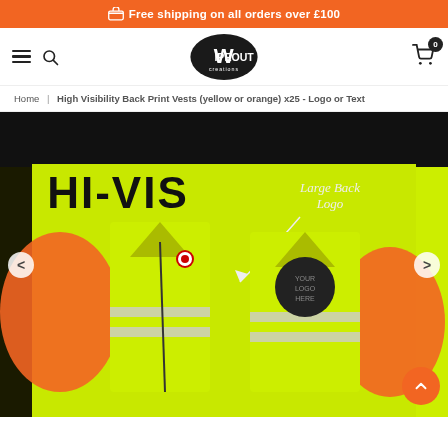Free shipping on all orders over £100
[Figure (logo): Wipeout Creations logo in navbar with hamburger menu, search icon, and cart icon with badge '0']
Home | High Visibility Back Print Vests (yellow or orange) x25 - Logo or Text
[Figure (photo): Hi-Vis vests product photo on yellow-green background with HI-VIS text and Large Back Logo callout, showing two hi-vis vests with reflective strips and a circular logo placement indicator]